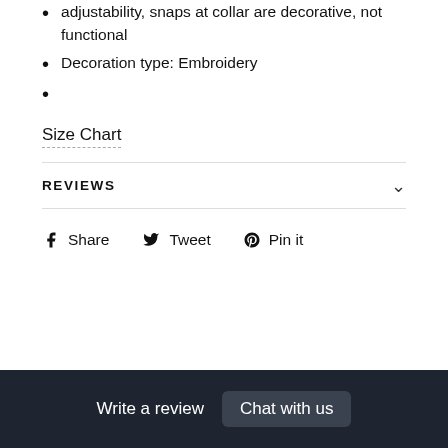adjustability, snaps at collar are decorative, not functional
Decoration type: Embroidery
Size Chart
REVIEWS
Share   Tweet   Pin it
no reviews yet
Write a review   Chat with us